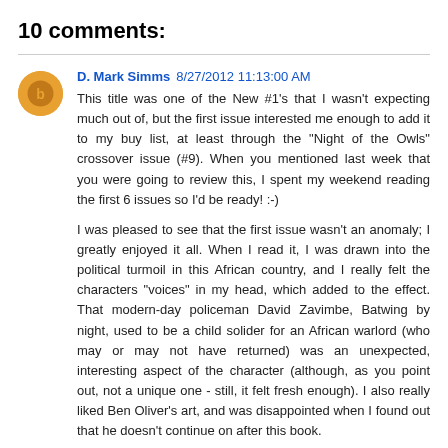10 comments:
D. Mark Simms 8/27/2012 11:13:00 AM
This title was one of the New #1's that I wasn't expecting much out of, but the first issue interested me enough to add it to my buy list, at least through the "Night of the Owls" crossover issue (#9). When you mentioned last week that you were going to review this, I spent my weekend reading the first 6 issues so I'd be ready! :-)

I was pleased to see that the first issue wasn't an anomaly; I greatly enjoyed it all. When I read it, I was drawn into the political turmoil in this African country, and I really felt the characters "voices" in my head, which added to the effect. That modern-day policeman David Zavimbe, Batwing by night, used to be a child solider for an African warlord (who may or may not have returned) was an unexpected, interesting aspect of the character (although, as you point out, not a unique one - still, it felt fresh enough). I also really liked Ben Oliver's art, and was disappointed when I found out that he doesn't continue on after this book.